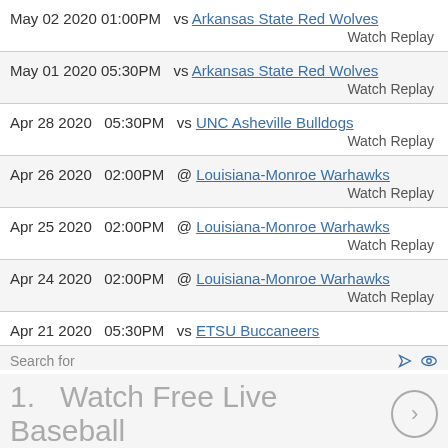May 02 2020 01:00PM vs Arkansas State Red Wolves
Watch Replay
May 01 2020 05:30PM vs Arkansas State Red Wolves
Watch Replay
Apr 28 2020 05:30PM vs UNC Asheville Bulldogs
Watch Replay
Apr 26 2020 02:00PM @ Louisiana-Monroe Warhawks
Watch Replay
Apr 25 2020 02:00PM @ Louisiana-Monroe Warhawks
Watch Replay
Apr 24 2020 02:00PM @ Louisiana-Monroe Warhawks
Watch Replay
Apr 21 2020 05:30PM vs ETSU Buccaneers
Search for
1.  Watch Free Live Baseball